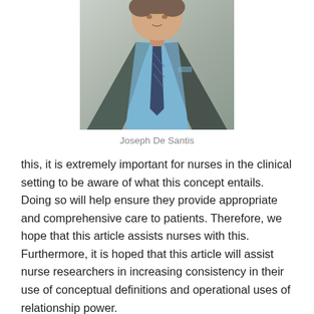[Figure (photo): Portrait photo of Joseph De Santis, a man in a grey suit, light blue shirt, and striped tie]
Joseph De Santis
this, it is extremely important for nurses in the clinical setting to be aware of what this concept entails. Doing so will help ensure they provide appropriate and comprehensive care to patients. Therefore, we hope that this article assists nurses with this. Furthermore, it is hoped that this article will assist nurse researchers in increasing consistency in their use of conceptual definitions and operational uses of relationship power.